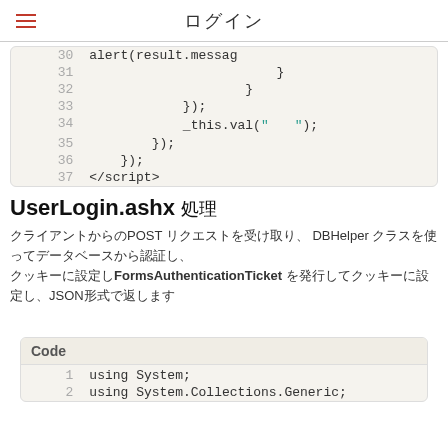ログイン
[Figure (screenshot): Code block showing lines 30-37 with JavaScript closing brackets and _this.val() call]
UserLogin.ashx 処理
クライアントからのPOSTリクエストを受け取り、DBHelper クラスを使ってデータベースから認証し、FormsAuthenticationTicket を発行してクッキーに設定し、JSON形式で返します
[Figure (screenshot): Code block with label 'Code' showing lines 1-2: using System; using System.Collections.Generic;]